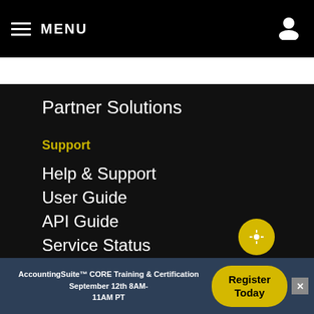MENU
Partner Solutions
Support
Help & Support
User Guide
API Guide
Service Status
Academy
Product Enhancements
AccountingSuite™ CORE Training & Certification September 12th 8AM-11AM PT Register Today